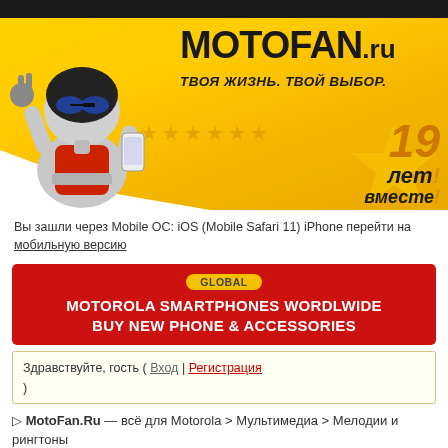[Figure (illustration): MotoFan.ru website banner with animated robot character wearing sunglasses and holding a phone, yellow/gold gradient background with stars, text MOTOFAN.RU ТВОЯ ЖИЗНЬ. ТВОЙ ВЫБОР. and 19 лет вместе badge]
Вы зашли через Mobile ОС: iOS (Mobile Safari 11) iPhone перейти на мобильную версию
[Figure (infographic): Red advertisement banner: GLOBAL tag, MOTOROLA SMARTPHONES WORDLWIDE BUY NEW PHONE & ACCESSORIES]
Здравствуйте, гость ( Вход | Регистрация )
▷ MotoFan.Ru — всё для Motorola > Мультимедиа > Мелодии и рингтоны